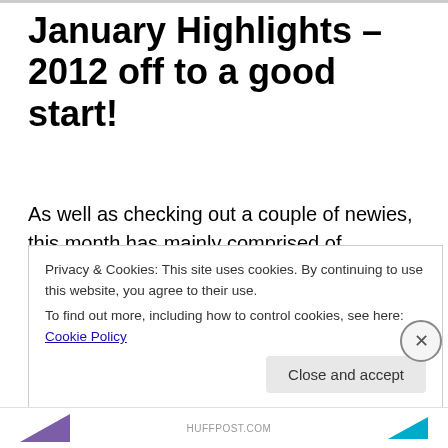January Highlights – 2012 off to a good start!
As well as checking out a couple of newies, this month has mainly comprised of listening to albums that came out last year that I failed to either take notice of or just hadn't heard of at the time. If you've seen my 2011 end of year list you'll hopefully agree it wasn't due to me being lazy on the listening front, it's just not possible to listen to everything that gets released!
Privacy & Cookies: This site uses cookies. By continuing to use this website, you agree to their use.
To find out more, including how to control cookies, see here: Cookie Policy
Close and accept